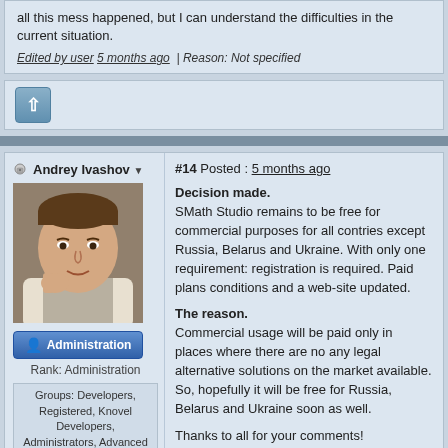all this mess happened, but I can understand the difficulties in the current situation.
Edited by user 5 months ago | Reason: Not specified
[Figure (other): Scroll-up button with upward arrow icon]
Andrey Ivashov
#14 Posted : 5 months ago
[Figure (photo): Profile photo of Andrey Ivashov]
Administration
Rank: Administration
Groups: Developers, Registered, Knovel Developers, Administrators, Advanced Member
Joined: 11/07/2008(UTC)
Decision made.
SMath Studio remains to be free for commercial purposes for all contries except Russia, Belarus and Ukraine. With only one requirement: registration is required. Paid plans conditions and a web-site updated.

The reason.
Commercial usage will be paid only in places where there are no any legal alternative solutions on the market available. So, hopefully it will be free for Russia, Belarus and Ukraine soon as well.

Thanks to all for your comments!
Best regards, Andrey Ivashov.